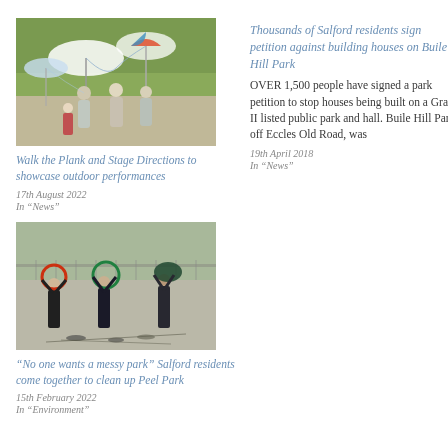[Figure (photo): People with umbrellas and costumes at an outdoor performance event in a park]
Walk the Plank and Stage Directions to showcase outdoor performances
17th August 2022
In “News”
Thousands of Salford residents sign petition against building houses on Buile Hill Park
OVER 1,500 people have signed a park petition to stop houses being built on a Grade II listed public park and hall. Buile Hill Park, off Eccles Old Road, was
19th April 2018
In “News”
[Figure (photo): Group of people standing outdoors holding hoops, with items laid out on the ground in front of them in a park setting]
“No one wants a messy park” Salford residents come together to clean up Peel Park
15th February 2022
In “Environment”